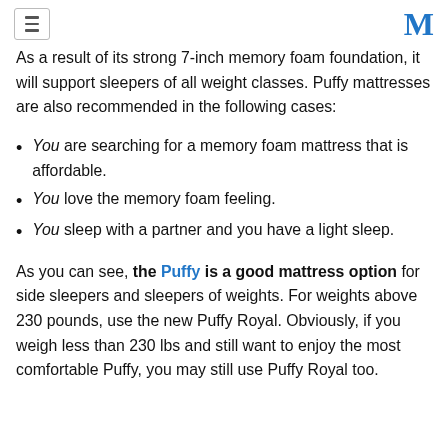[hamburger menu icon] [M logo]
As a result of its strong 7-inch memory foam foundation, it will support sleepers of all weight classes. Puffy mattresses are also recommended in the following cases:
You are searching for a memory foam mattress that is affordable.
You love the memory foam feeling.
You sleep with a partner and you have a light sleep.
As you can see, the Puffy is a good mattress option for side sleepers and sleepers of weights. For weights above 230 pounds, use the new Puffy Royal. Obviously, if you weigh less than 230 lbs and still want to enjoy the most comfortable Puffy, you may still use Puffy Royal too.